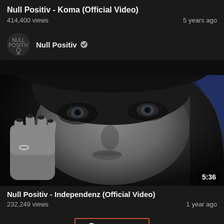Null Positiv - Koma (Official Video)
414,400 views     5 years ago
Null Positiv ✓
[Figure (photo): Video thumbnail showing a close-up black and white photo of a woman with dramatic eye makeup and blue hair streaks, with a duration badge showing 5:36]
Null Positiv - Independenz (Official Video)
232,249 views     1 year ago
show more